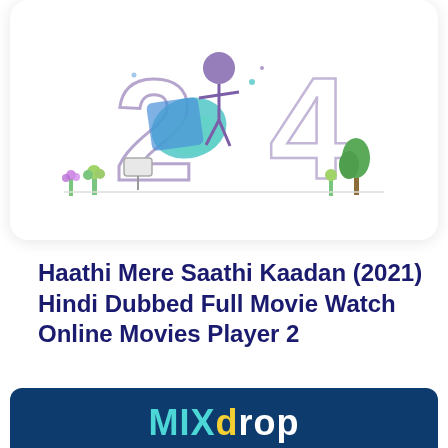[Figure (illustration): A cartoon illustration showing large stylized numbers '2' and '4' with small illustrated characters and plants/flowers around them, rendered in purple, teal, and blue tones on a white card background.]
Haathi Mere Saathi Kaadan (2021) Hindi Dubbed Full Movie Watch Online Movies Player 2
[Figure (logo): MIXdrop logo on a dark navy blue background. 'MIX' in teal/cyan, 'd' in yellow, 'rop' in white, with stylized 3D-looking letters.]